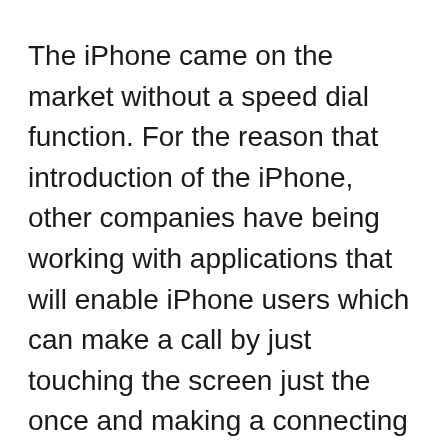The iPhone came on the market without a speed dial function. For the reason that introduction of the iPhone, other companies have being working with applications that will enable iPhone users which can make a call by just touching the screen just the once and making a connecting flight. That time has finally arrived. You'll find decent apps designed to enhance your capacity to quickly dial in the iPhone. Here are a few of them and they include the Apple App store. As the technology continues to improve more and more apps will be coming on market place and each you'll bring something special to the iPhone experience. Everyday is a new one on the planet of computers and smart phones, and each and every new app makes